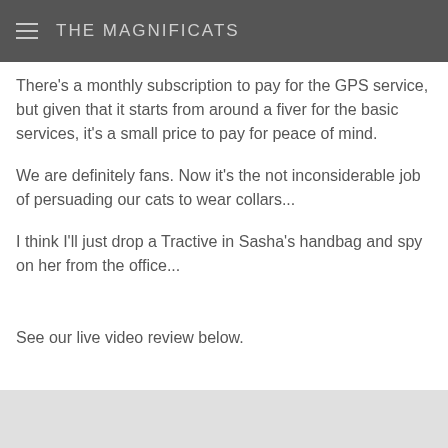house.
THE MAGNIFICATS
There's a monthly subscription to pay for the GPS service, but given that it starts from around a fiver for the basic services, it's a small price to pay for peace of mind.
We are definitely fans. Now it's the not inconsiderable job of persuading our cats to wear collars...
I think I'll just drop a Tractive in Sasha's handbag and spy on her from the office...
See our live video review below.